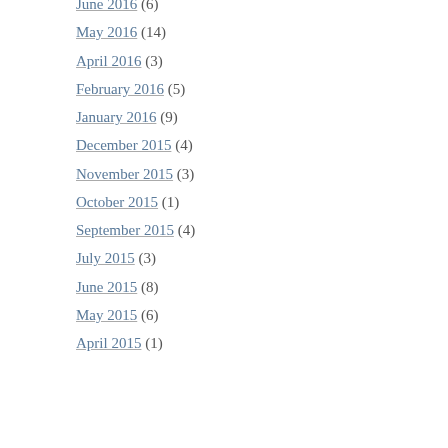June 2016 (6)
May 2016 (14)
April 2016 (3)
February 2016 (5)
January 2016 (9)
December 2015 (4)
November 2015 (3)
October 2015 (1)
September 2015 (4)
July 2015 (3)
June 2015 (8)
May 2015 (6)
April 2015 (1)